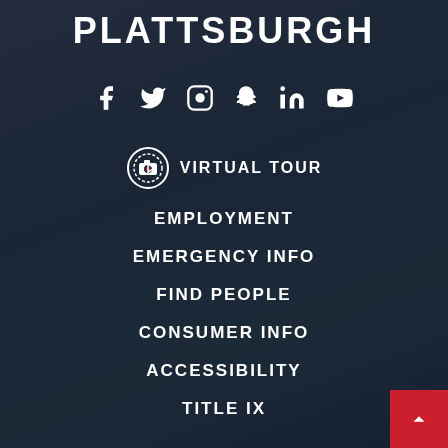PLATTSBURGH
[Figure (infographic): Social media icons: Facebook, Twitter, Instagram, Snapchat, LinkedIn, YouTube — all white on dark background]
VIRTUAL TOUR
EMPLOYMENT
EMERGENCY INFO
FIND PEOPLE
CONSUMER INFO
ACCESSIBILITY
TITLE IX